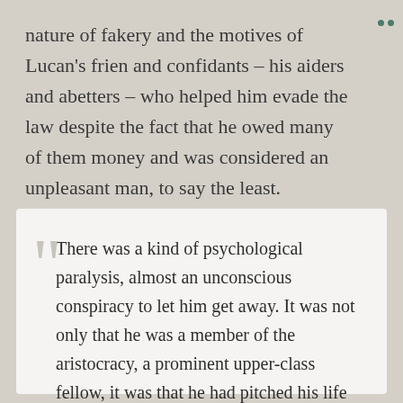nature of fakery and the motives of Lucan's frien and confidants – his aiders and abetters – who helped him evade the law despite the fact that he owed many of them money and was considered an unpleasant man, to say the least.
There was a kind of psychological paralysis, almost an unconscious conspiracy to let him get away. It was not only that he was a member of the aristocracy, a prominent upper-class fellow, it was that he had pitched his life and all his living arrangements to that proposition. His proposition was: I am a